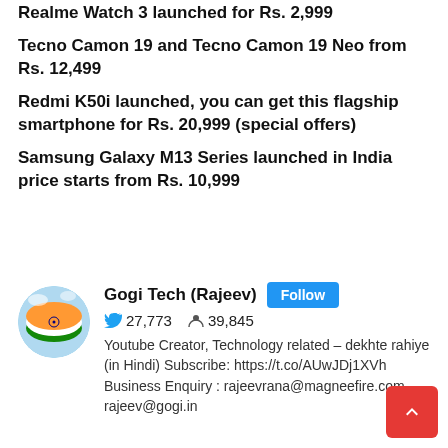Realme Watch 3 launched for Rs. 2,999
Tecno Camon 19 and Tecno Camon 19 Neo from Rs. 12,499
Redmi K50i launched, you can get this flagship smartphone for Rs. 20,999 (special offers)
Samsung Galaxy M13 Series launched in India price starts from Rs. 10,999
Gogi Tech (Rajeev) | 27,773 Twitter followers | 39,845 subscribers | Youtube Creator, Technology related – dekhte rahiye (in Hindi) Subscribe: https://t.co/AUwJDj1XVh Business Enquiry : rajeevrana@magneefire.com, rajeev@gogi.in